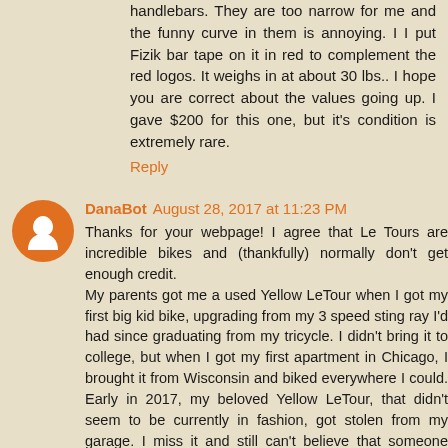handlebars. They are too narrow for me and the funny curve in them is annoying. I I put Fizik bar tape on it in red to complement the red logos. It weighs in at about 30 lbs.. I hope you are correct about the values going up. I gave $200 for this one, but it's condition is extremely rare.
Reply
DanaBot August 28, 2017 at 11:23 PM
Thanks for your webpage! I agree that Le Tours are incredible bikes and (thankfully) normally don't get enough credit.
My parents got me a used Yellow LeTour when I got my first big kid bike, upgrading from my 3 speed sting ray I'd had since graduating from my tricycle. I didn't bring it to college, but when I got my first apartment in Chicago, I brought it from Wisconsin and biked everywhere I could. Early in 2017, my beloved Yellow LeTour, that didn't seem to be currently in fashion, got stolen from my garage. I miss it and still can't believe that someone took the time to break into my garage, left my car alone and just took my bike. I miss it every day and haven't biked since. I'm 5'8" and so